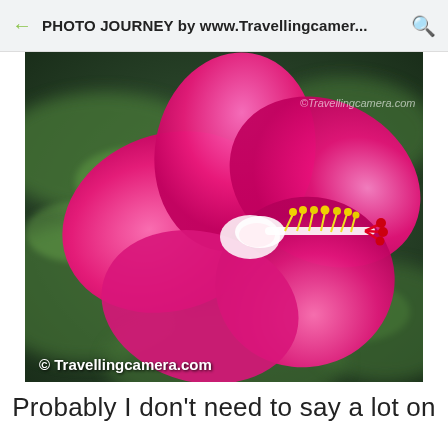PHOTO JOURNEY by www.Travellingcamer...
[Figure (photo): Close-up macro photograph of a bright pink hibiscus flower with yellow and red stamens, against blurred green foliage background. Watermark text '© Travellingcamera.com' at bottom left, and faint '©Travellingcamera.com' at top right.]
Probably I don't need to say a lot on